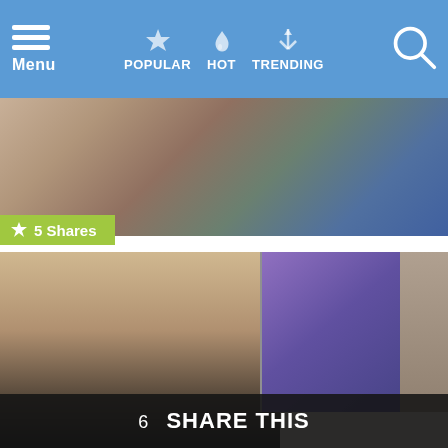Menu | POPULAR | HOT | TRENDING
[Figure (photo): Close-up of hands, possibly clasped in prayer or greeting, with blurred background]
5 Shares
Clergyman
Clergy play an ongoing role in millions of Americans' lives, providing spiritual and moral guidance and assistance to members of Hindu, Buddhist, Christian, Jewish, Muslim, or dozens of other recognized groups. Clerics – the name for those in the clergy field – serve as leaders of these diverse groups, and assist congregants during important or […] MORE
[Figure (photo): Woman with blonde hair looking at computer screens]
6 SHARE THIS